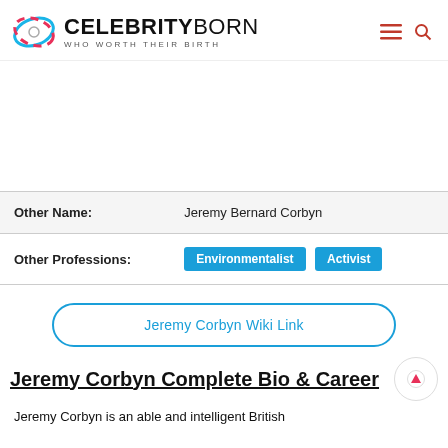CELEBRITYBORN WHO WORTH THEIR BIRTH
| Other Name: | Jeremy Bernard Corbyn |
| Other Professions: | Environmentalist | Activist |
Jeremy Corbyn Wiki Link
Jeremy Corbyn Complete Bio & Career
Jeremy Corbyn is an able and intelligent British